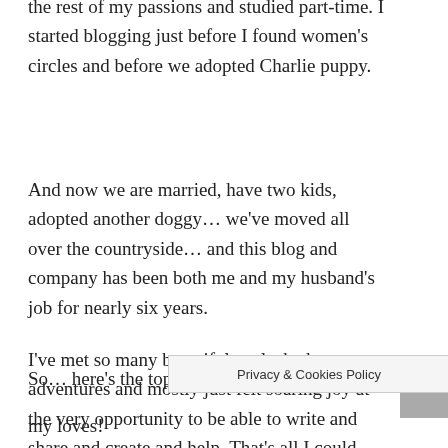the rest of my passions and studied part-time. I started blogging just before I found women's circles and before we adopted Charlie puppy.
And now we are married, have two kids, adopted another doggy… we've moved all over the countryside… and this blog and company has been both me and my husband’s job for nearly six years.
I’ve met so many beautiful souls, had so many adventures and mostly just felt soaring joy at the very opportunity to be able to write and share and create and help. That’s all I could ever ask for or want. Ever, ever, everrrrrrrr.
So… here’s the top
g posts
my loves!
Privacy & Cookies Policy